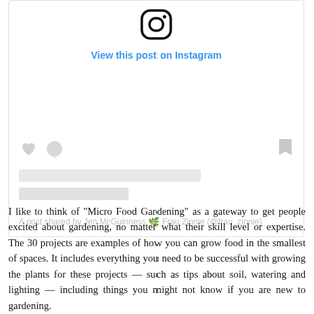[Figure (screenshot): Instagram embedded post card showing Instagram logo icon, 'View this post on Instagram' blue link, placeholder UI elements (heart icon, circle icon, bookmark icon, two gray placeholder bars), and attribution text 'A post shared by Jen McGuinness 🌿 Frau Zinnie (@frau_zinnie)']
I like to think of "Micro Food Gardening" as a gateway to get people excited about gardening, no matter what their skill level or expertise. The 30 projects are examples of how you can grow food in the smallest of spaces. It includes everything you need to be successful with growing the plants for these projects — such as tips about soil, watering and lighting — including things you might not know if you are new to gardening.